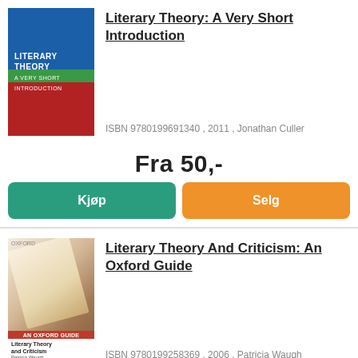[Figure (illustration): Book cover of 'Literary Theory: A Very Short Introduction' with blue, green, and red horizontal bands]
Literary Theory: A Very Short Introduction
ISBN 9780199691340 , 2011 , Jonathan Culler
Fra 50,-
Kjøp
Selg
[Figure (illustration): Book cover of 'Literary Theory And Criticism: An Oxford Guide' showing open book pages photo]
Literary Theory And Criticism: An Oxford Guide
ISBN 9780199258369 , 2006 , Patricia Waugh